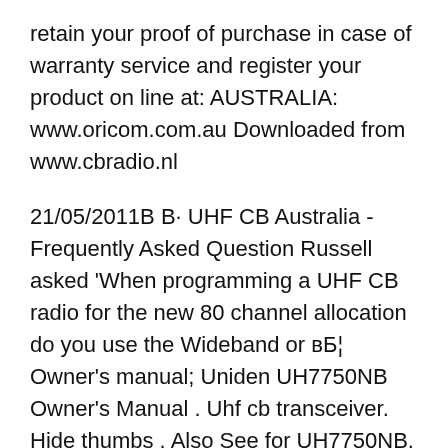retain your proof of purchase in case of warranty service and register your product on line at: AUSTRALIA: www.oricom.com.au Downloaded from www.cbradio.nl
21/05/2011В В· UHF CB Australia - Frequently Asked Question Russell asked 'When programming a UHF CB radio for the new 80 channel allocation do you use the Wideband or вБ¦ Owner's manual; Uniden UH7750NB Owner's Manual . Uhf cb transceiver. Hide thumbs . Also See for UH7750NB. Owner's manual - 40 Press and hold [MENU/ENTER] to exit from the menu mode. If a button is not pressed within 10 seconds the UHF CB Radio will automatically exit the Menu Mode. NOTE UNIDEN UH7740NB UH7750NB UHF CB Transceiver - Page 27: Roger